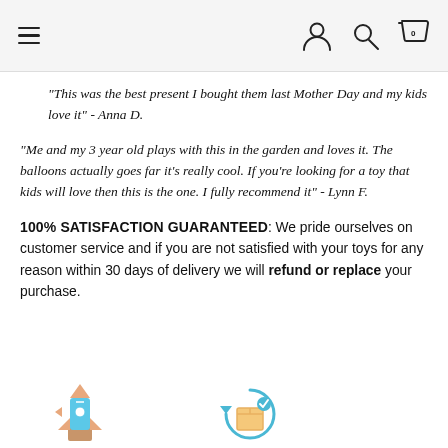Navigation bar with hamburger menu, user icon, search icon, and cart icon with 0
"This was the best present I bought them last Mother Day and my kids love it" - Anna D.
"Me and my 3 year old plays with this in the garden and loves it. The balloons actually goes far it's really cool. If you're looking for a toy that kids will love then this is the one. I fully recommend it" - Lynn F.
100% SATISFACTION GUARANTEED: We pride ourselves on customer service and if you are not satisfied with your toys for any reason within 30 days of delivery we will refund or replace your purchase.
[Figure (illustration): Rocket/toy illustration icon at bottom left]
[Figure (illustration): Return/refund circular arrows with box icon at bottom center-right]